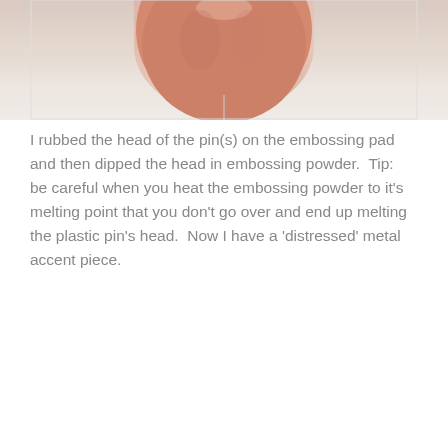[Figure (photo): Close-up photo of a hand holding a pin, showing fingers against a light background]
I rubbed the head of the pin(s) on the embossing pad and then dipped the head in embossing powder.  Tip:  be careful when you heat the embossing powder to it's melting point that you don't go over and end up melting the plastic pin's head.  Now I have a 'distressed' metal accent piece.
[Figure (photo): Photo of a decorative crafted dinosaur figure made of metallic/mosaic patchwork pieces with gold spike accents along its back, set against a blue sky with clouds background]